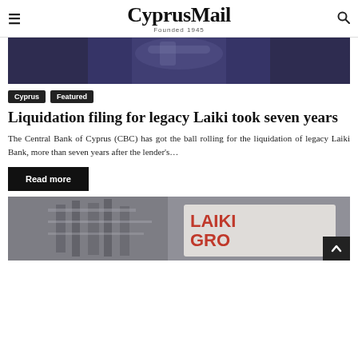CyprusMail — Founded 1945
[Figure (photo): Top portion of a man in a dark suit with a teal/blue tie, outdoors in front of a building]
Cyprus
Featured
Liquidation filing for legacy Laiki took seven years
The Central Bank of Cyprus (CBC) has got the ball rolling for the liquidation of legacy Laiki Bank, more than seven years after the lender's…
Read more
[Figure (photo): Construction scaffolding on a building with a large red 'LAIKI GROUP' sign visible]